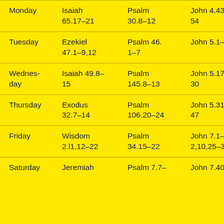| Monday | Isaiah 65.17–21 | Psalm 30.8–12 | John 4.43–54 |
| Tuesday | Ezekiel 47.1–9,12 | Psalm 46. 1–7 | John 5.1–16 |
| Wednesday | Isaiah 49.8–15 | Psalm 145.8–13 | John 5.17–30 |
| Thursday | Exodus 32.7–14 | Psalm 106.20–24 | John 5.31–47 |
| Friday | Wisdom 2.l1,12–22 | Psalm 34.15–22 | John 7.1–2,10,25–30 |
| Saturday | Jeremiah | Psalm 7.7– | John 7.40– |